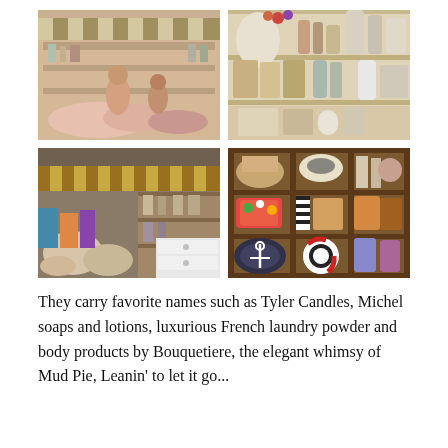[Figure (photo): Four photos in a 2x2 grid showing the interior and exterior of a gift/boutique shop. Top-left: shop exterior with striped awning and decorative items display. Top-right: shop shelves with soaps, lotions, and bath products. Bottom-left: shop interior with striped awning and shelves of figurines and gifts. Bottom-right: wooden shelving unit with nautical-themed items, bags, and decorative accessories.]
They carry favorite names such as Tyler Candles, Michel soaps and lotions, luxurious French laundry powder and body products by Bouquetiere, the elegant whimsy of Mud Pie, Leanin' to let it go... Boyds, Cherished...